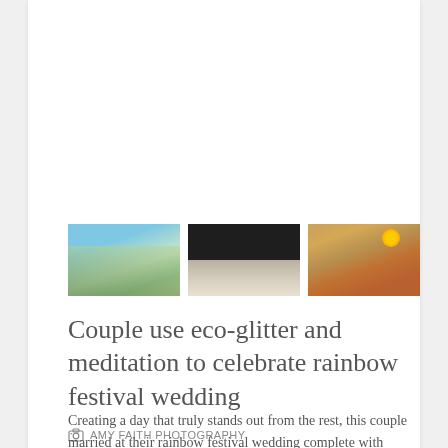[Figure (photo): Three thumbnail photos in a row: (1) colorful group of people outdoors at a festival, (2) close-up of feet/shoes of a couple, (3) decorated reception table with flowers and a sunflower.]
Couple use eco-glitter and meditation to celebrate rainbow festival wedding
AMY FAITH PHOTOGRAPHY
Creating a day that truly stands out from the rest, this couple married at their rainbow festival wedding complete with meditation and dress ups.